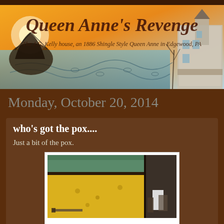[Figure (illustration): Queen Anne's Revenge blog banner featuring painted artwork with ship, swirling ocean waves, sunset sky, and a Victorian house. Text reads 'Queen Anne's Revenge' and 'The J.G. Kelly house, an 1886 Shingle Style Queen Anne in Edgewood, PA']
Monday, October 20, 2014
who's got the pox....
Just a bit of the pox.
[Figure (photo): Interior room photo showing a wooden floor being refinished, with yellow/golden staining visible. Green walls, a doorway to the right with tools and equipment including a white bucket.]